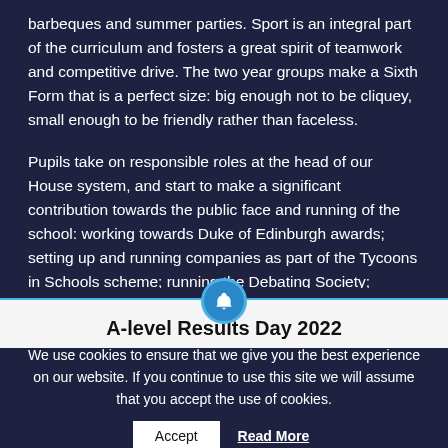barbeques and summer parties. Sport is an integral part of the curriculum and fosters a great spirit of teamwork and competitive drive. The two year groups make a Sixth Form that is a perfect size: big enough not to be cliquey, small enough to be friendly rather than faceless.
Pupils take on responsible roles at the head of our House system, and start to make a significant contribution towards the public face and running of the school: working towards Duke of Edinburgh awards; setting up and running companies as part of the Tycoons in Schools scheme; running the Debating Society; functioning as Subject Prefects; mentoring younger pupils.
A-level Results Day 2022
We use cookies to ensure that we give you the best experience on our website. If you continue to use this site we will assume that you accept the use of cookies.